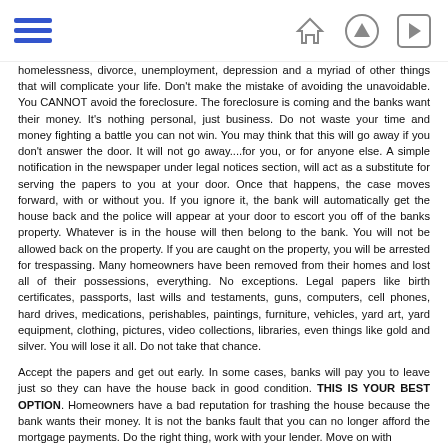Navigation header with hamburger menu and home/up/next icons
homelessness, divorce, unemployment, depression and a myriad of other things that will complicate your life. Don't make the mistake of avoiding the unavoidable. You CANNOT avoid the foreclosure. The foreclosure is coming and the banks want their money. It's nothing personal, just business. Do not waste your time and money fighting a battle you can not win. You may think that this will go away if you don't answer the door. It will not go away....for you, or for anyone else. A simple notification in the newspaper under legal notices section, will act as a substitute for serving the papers to you at your door. Once that happens, the case moves forward, with or without you. If you ignore it, the bank will automatically get the house back and the police will appear at your door to escort you off of the banks property. Whatever is in the house will then belong to the bank. You will not be allowed back on the property. If you are caught on the property, you will be arrested for trespassing. Many homeowners have been removed from their homes and lost all of their possessions, everything. No exceptions. Legal papers like birth certificates, passports, last wills and testaments, guns, computers, cell phones, hard drives, medications, perishables, paintings, furniture, vehicles, yard art, yard equipment, clothing, pictures, video collections, libraries, even things like gold and silver. You will lose it all. Do not take that chance.
Accept the papers and get out early. In some cases, banks will pay you to leave just so they can have the house back in good condition. THIS IS YOUR BEST OPTION. Homeowners have a bad reputation for trashing the house because the bank wants their money. It is not the banks fault that you can no longer afford the mortgage payments. Do the right thing, work with your lender. Move on with